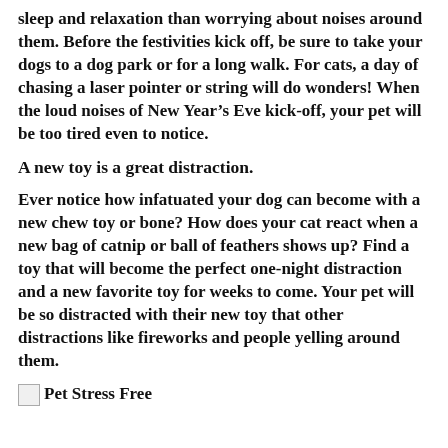sleep and relaxation than worrying about noises around them. Before the festivities kick off, be sure to take your dogs to a dog park or for a long walk. For cats, a day of chasing a laser pointer or string will do wonders! When the loud noises of New Year's Eve kick-off, your pet will be too tired even to notice.
A new toy is a great distraction.
Ever notice how infatuated your dog can become with a new chew toy or bone? How does your cat react when a new bag of catnip or ball of feathers shows up? Find a toy that will become the perfect one-night distraction and a new favorite toy for weeks to come. Your pet will be so distracted with their new toy that other distractions like fireworks and people yelling around them.
[Figure (logo): Pet Stress Free logo with small image placeholder]